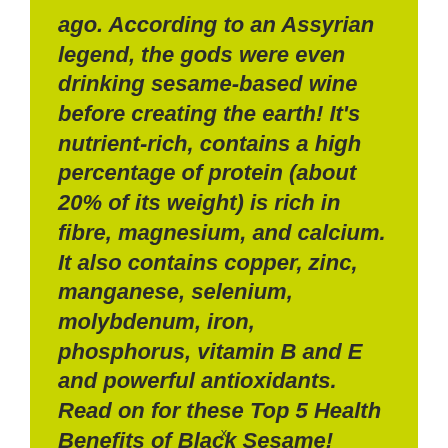ago. According to an Assyrian legend, the gods were even drinking sesame-based wine before creating the earth! It's nutrient-rich, contains a high percentage of protein (about 20% of its weight) is rich in fibre, magnesium, and calcium. It also contains copper, zinc, manganese, selenium, molybdenum, iron, phosphorus, vitamin B and E and powerful antioxidants. Read on for these Top 5 Health Benefits of Black Sesame!
x